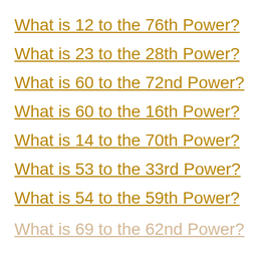What is 12 to the 76th Power?
What is 23 to the 28th Power?
What is 60 to the 72nd Power?
What is 60 to the 16th Power?
What is 14 to the 70th Power?
What is 53 to the 33rd Power?
What is 54 to the 59th Power?
What is 69 to the 62nd Power?